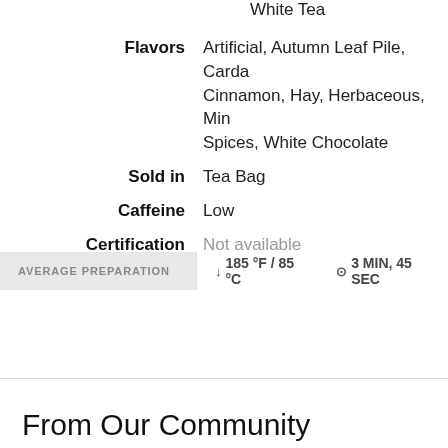White Tea
| Flavors | Artificial, Autumn Leaf Pile, Carda...
Cinnamon, Hay, Herbaceous, Min...
Spices, White Chocolate |
| Sold in | Tea Bag |
| Caffeine | Low |
| Certification | Not available |
AVERAGE PREPARATION   ↓ 185 °F / 85 °C   ⊙ 3 MIN, 45 SEC
From Our Community